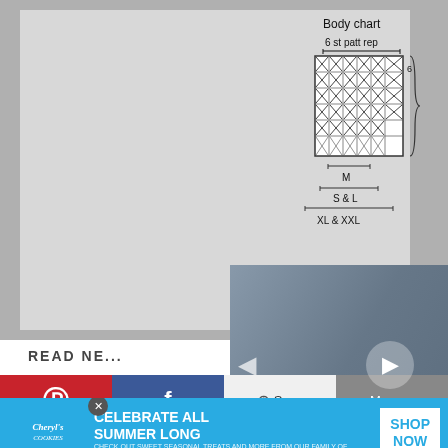[Figure (schematic): Body chart knitting pattern schematic showing a grid with X marks, labeled '6 st patt rep' horizontally and '6 row patt rep' vertically, with size indicators M, S & L, XL & XXL]
[Figure (screenshot): Video player thumbnail showing a woman (Heidi Gustad) in a craft studio with yarn and supplies, with play button, navigation arrows, and video label]
READ NE...
[Figure (infographic): Social sharing bar with Pinterest, Facebook, Save, and More buttons]
[Figure (other): Advertisement banner for Cheryl's Cookies: CELEBRATE ALL SUMMER LONG with SHOP NOW button]